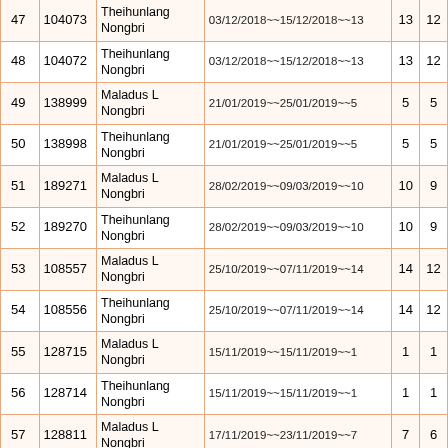| # | ID | Name | Dates | D1 | D2 |
| --- | --- | --- | --- | --- | --- |
| 47 | 104073 | Theihunlang Nongbri | 03/12/2018~~15/12/2018~~13 | 13 | 12 |
| 48 | 104072 | Theihunlang Nongbri | 03/12/2018~~15/12/2018~~13 | 13 | 12 |
| 49 | 138999 | Maladus L Nongbri | 21/01/2019~~25/01/2019~~5 | 5 | 5 |
| 50 | 138998 | Theihunlang Nongbri | 21/01/2019~~25/01/2019~~5 | 5 | 5 |
| 51 | 189271 | Maladus L Nongbri | 28/02/2019~~09/03/2019~~10 | 10 | 9 |
| 52 | 189270 | Theihunlang Nongbri | 28/02/2019~~09/03/2019~~10 | 10 | 9 |
| 53 | 108557 | Maladus L Nongbri | 25/10/2019~~07/11/2019~~14 | 14 | 12 |
| 54 | 108556 | Theihunlang Nongbri | 25/10/2019~~07/11/2019~~14 | 14 | 12 |
| 55 | 128715 | Maladus L Nongbri | 15/11/2019~~15/11/2019~~1 | 1 | 1 |
| 56 | 128714 | Theihunlang Nongbri | 15/11/2019~~15/11/2019~~1 | 1 | 1 |
| 57 | 128811 | Maladus L Nongbri | 17/11/2019~~23/11/2019~~7 | 7 | 6 |
| 58 | 128810 | Theihunlang Nongbri | 17/11/2019~~23/11/2019~~7 | 7 | 6 |
| 59 | 153900 | Maladus L Nongbri | 06/12/2019~~06/12/2019~~1 | 1 | 1 |
| 60 | 153899 | Theihunlang Nongbri | 06/12/2019~~06/12/2019~~1 | 1 | 1 |